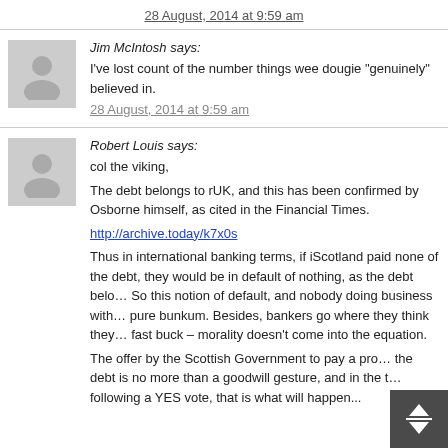28 August, 2014 at 9:59 am
Jim McIntosh says: I've lost count of the number things wee dougie "genuinely" believed in.
28 August, 2014 at 9:59 am
Robert Louis says: col the viking,

The debt belongs to rUK, and this has been confirmed by Osborne himself, as cited in the Financial Times.

http://archive.today/k7x0s

Thus in international banking terms, if iScotland paid none of the debt, they would be in default of nothing, as the debt belongs to rUK. So this notion of default, and nobody doing business with iScotland is pure bunkum. Besides, bankers go where they think they can make a fast buck – morality doesn't come into the equation.

The offer by the Scottish Government to pay a pro rata share of the debt is no more than a goodwill gesture, and in the event following a YES vote, that is what will happen...